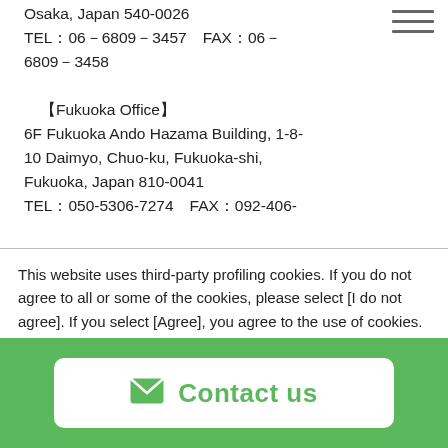Osaka, Japan 540-0026
TEL：06－6809－3457　FAX：06－6809－3458

【Fukuoka Office】
6F Fukuoka Ando Hazama Building, 1-8-10 Daimyo, Chuo-ku, Fukuoka-shi, Fukuoka, Japan 810-0041
TEL：050-5306-7274　FAX：092-406-
This website uses third-party profiling cookies. If you do not agree to all or some of the cookies, please select [I do not agree]. If you select [Agree], you agree to the use of cookies.
[I do not agree]
[Agree]
Contact us